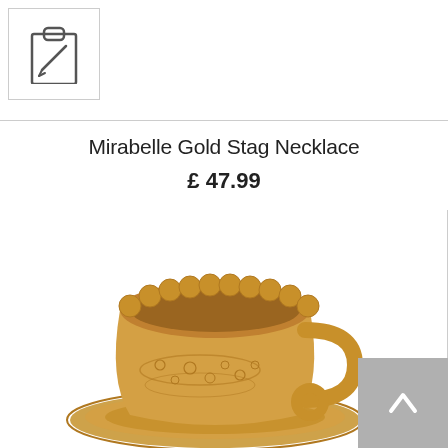[Figure (illustration): Clipboard/notepad icon with pencil inside a white box with border, top-left corner of page]
Mirabelle Gold Stag Necklace
£47.99
[Figure (photo): Gold teacup and saucer charm jewelry piece with scalloped rim and decorative engraving details, photographed on white background]